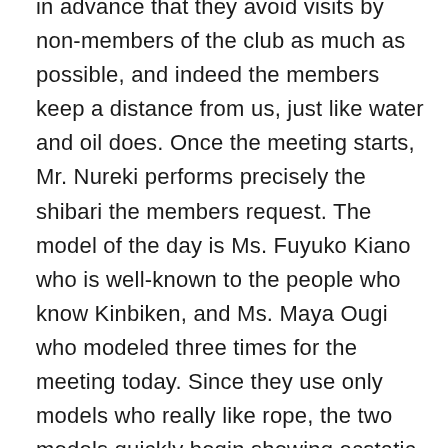in advance that they avoid visits by non-members of the club as much as possible, and indeed the members keep a distance from us, just like water and oil does. Once the meeting starts, Mr. Nureki performs precisely the shibari the members request. The model of the day is Ms. Fuyuko Kiano who is well-known to the people who know Kinbiken, and Ms. Maya Ougi who modeled three times for the meeting today. Since they use only models who really like rope, the two models quickly begin showing ecstatic expressions when tied. It's seldom seen in SM videos just how sexy women getting intoxicated by ropes are. I was amazed that the beauty of kinbaku created by just ropes and female bodies without any pornographic items (exposure of genitals or use of vibrators are not happening at these meetings) can be so full of eroticism and stimulate the observer.